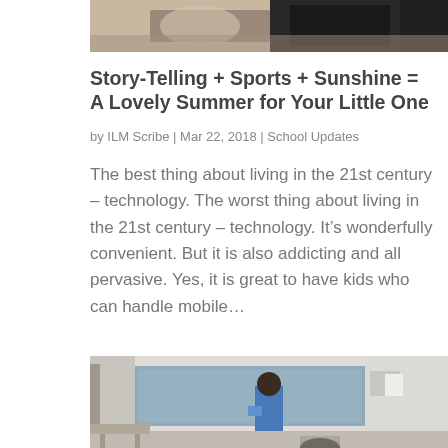[Figure (photo): Top portion of a photo showing people, partially cropped at the top of the page]
Story-Telling + Sports + Sunshine = A Lovely Summer for Your Little One
by ILM Scribe | Mar 22, 2018 | School Updates
The best thing about living in the 21st century – technology. The worst thing about living in the 21st century – technology. It's wonderfully convenient. But it is also addicting and all pervasive. Yes, it is great to have kids who can handle mobile…
[Figure (photo): Classroom scene with a student in blue standing near a whiteboard/blackboard in a school classroom]